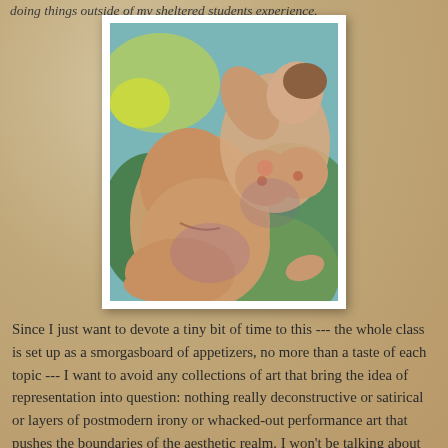doing things outside of my sheltered students experience.
[Figure (illustration): A painting of reclining nude figures in a modernist/expressionist style, painted with greens, pinks, and warm earth tones.]
Since I just want to devote a tiny bit of time to this --- the whole class is set up as a smorgasboard of appetizers, no more than a taste of each topic --- I want to avoid any collections of art that bring the idea of representation into question: nothing really deconstructive or satirical or layers of postmodern irony or whacked-out performance art that pushes the boundaries of the aesthetic realm. I won't be talking about these books, so they need to be able to get something useful from the images on their own. So no Cindy Sherman, no Kara Walker, at ff... and how that is this section.